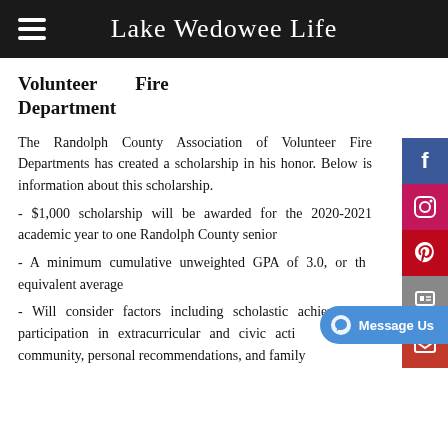Lake Wedowee Life
Volunteer Fire Department
The Randolph County Association of Volunteer Fire Departments has created a scholarship in his honor. Below is information about this scholarship.
- $1,000 scholarship will be awarded for the 2020-2021 academic year to one Randolph County senior
- A minimum cumulative unweighted GPA of 3.0, or the equivalent average
- Will consider factors including scholastic achievement, participation in extracurricular and civic activities in the community, personal recommendations, and family